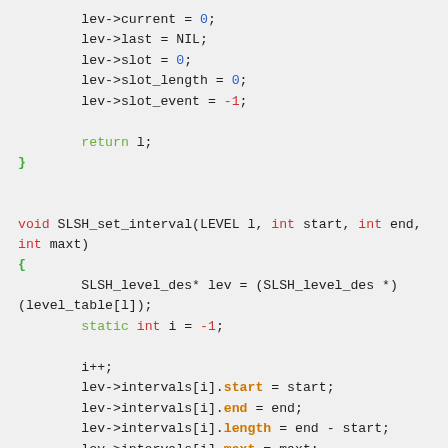[Figure (screenshot): Source code snippet in C showing lev struct field assignments, a return statement, closing brace, and the SLSH_set_interval function definition with variable declarations and interval field assignments.]